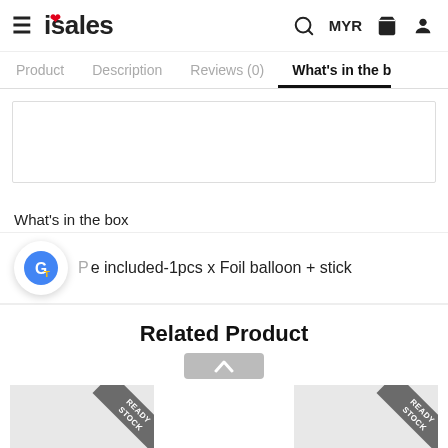isales — MYR
Product   Description   Reviews (0)   What's in the b
[Figure (screenshot): Empty white content area with border]
What's in the box
e included-1pcs x Foil balloon + stick
Related Product
[Figure (screenshot): Two product cards with READY STOCK ribbon badges]